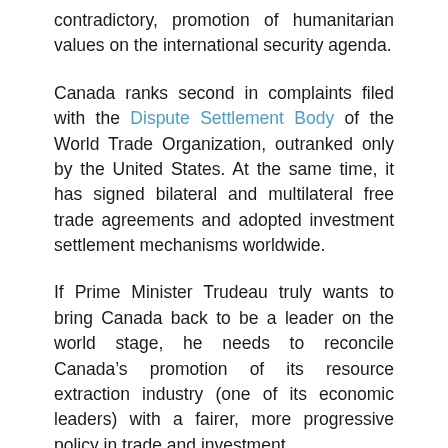contradictory, promotion of humanitarian values on the international security agenda.
Canada ranks second in complaints filed with the Dispute Settlement Body of the World Trade Organization, outranked only by the United States. At the same time, it has signed bilateral and multilateral free trade agreements and adopted investment settlement mechanisms worldwide.
If Prime Minister Trudeau truly wants to bring Canada back to be a leader on the world stage, he needs to reconcile Canada’s promotion of its resource extraction industry (one of its economic leaders) with a fairer, more progressive policy in trade and investment.
Since February 2006, with the election of the previous